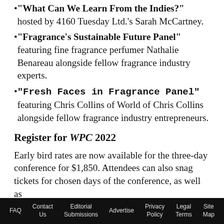"What Can We Learn From the Indies?" hosted by 4160 Tuesday Ltd.'s Sarah McCartney.
"Fragrance's Sustainable Future Panel" featuring fine fragrance perfumer Nathalie Benareau alongside fellow fragrance industry experts.
"Fresh Faces in Fragrance Panel" featuring Chris Collins of World of Chris Collins alongside fellow fragrance industry entrepreneurs.
Register for WPC 2022
Early bird rates are now available for the three-day conference for $1,850. Attendees can also snag tickets for chosen days of the conference, as well as
FAQ   Contact Us   Editorial Submissions   Advertise   Privacy Policy   Legal Terms   Site Map